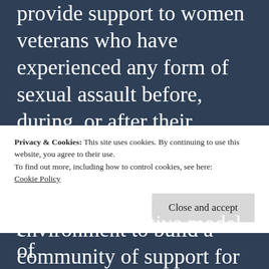provide support to women veterans who have experienced any form of sexual assault before, during, or after their military service.  Project HER is committed to creating a safe environment to build a community of support for women who have served in the military. A wide variety of services are offered free of charge. For questions or to be connected to a
Privacy & Cookies: This site uses cookies. By continuing to use this website, you agree to their use.
To find out more, including how to control cookies, see here:
Cookie Policy
Close and accept
positive alternative model of